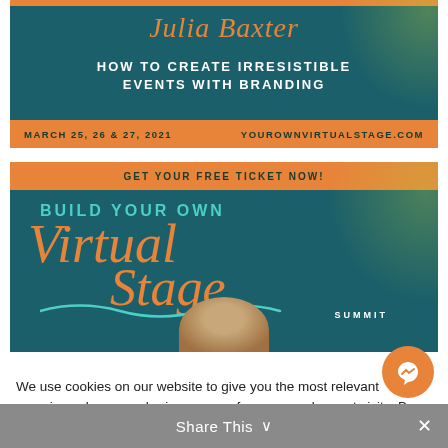[Figure (infographic): Event banner for Julia Baxter speaking at Build Your Own Virtual Stage Summit. Dark teal background with orange script name, white bold title text 'HOW TO CREATE IRRESISTIBLE EVENTS WITH BRANDING', orange footer strip with date MARCH 25, 26 & 27, 2021 and website YOUROWNVIRTUALSTAGE.COM]
[Figure (infographic): Summit promotional banner with orange top strip 'GET YOUR FREE TICKET NOW!', teal BUILD YOUR OWN text, large orange script 'Virtual Stage', white SUMMIT text, teal wave decoration, and partially visible speaker photo at bottom]
We use cookies on our website to give you the most relevant experience by remembering your preferences and repeat visits. By clicking “Accept”, you consent to the use of ALL the cookies.
Cookie settings
ACCEPT
Share This ∨